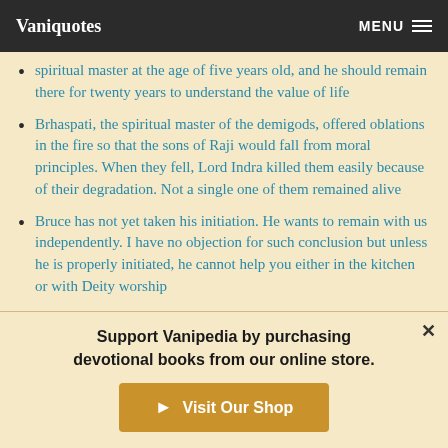Vaniquotes | MENU
spiritual master at the age of five years old, and he should remain there for twenty years to understand the value of life
Brhaspati, the spiritual master of the demigods, offered oblations in the fire so that the sons of Raji would fall from moral principles. When they fell, Lord Indra killed them easily because of their degradation. Not a single one of them remained alive
Bruce has not yet taken his initiation. He wants to remain with us independently. I have no objection for such conclusion but unless he is properly initiated, he cannot help you either in the kitchen or with Deity worship
Support Vanipedia by purchasing devotional books from our online store.
Visit Our Shop